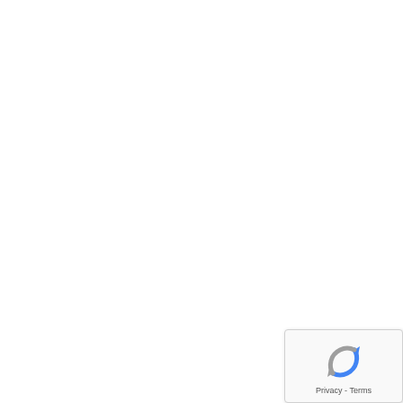receiving the DSO and the OBEi
[Figure (other): Google reCAPTCHA widget with spinning arrow icon and Privacy - Terms link]